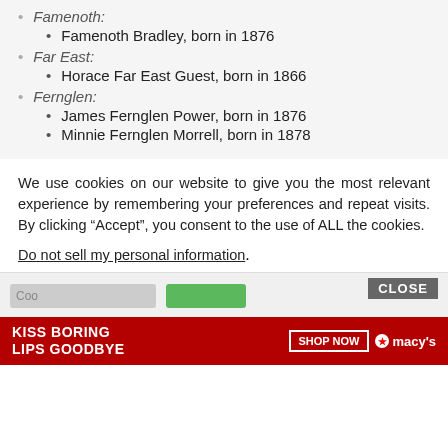Famenoth:
Famenoth Bradley, born in 1876
Far East:
Horace Far East Guest, born in 1866
Fernglen:
James Fernglen Power, born in 1876
Minnie Fernglen Morrell, born in 1878
We use cookies on our website to give you the most relevant experience by remembering your preferences and repeat visits. By clicking “Accept”, you consent to the use of ALL the cookies.
Do not sell my personal information.
CLOSE
[Figure (screenshot): Advertisement banner: red background with text 'KISS BORING LIPS GOODBYE', a SHOP NOW button, and Macy's star logo on the right.]